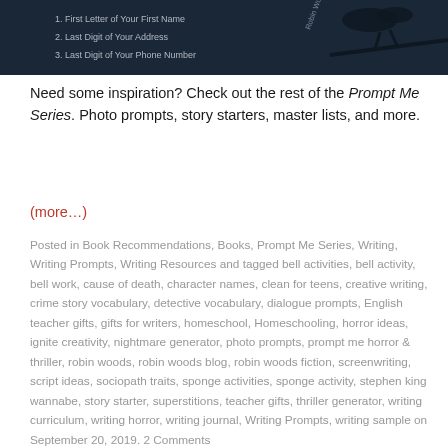[Figure (screenshot): Dark background book cover image showing numbered list: 1. First Letter of Your First Name, 2. Last Digit of Your Address, 3. Last Digit of Your Phone Number. Author name Robin Woods visible.]
Need some inspiration? Check out the rest of the Prompt Me Series. Photo prompts, story starters, master lists, and more.
(more…)
Posted in Book Recommendations, Books, Prompt Me Series, Writing, Writing Prompts, Writing Resources and tagged bell activities, bell activity, bell work, cause of death, character names, clean for teens, creative writing, crime story vocabulary, detective vocabulary, dialogue prompts, English teacher gifts, gifts for writers, homeschool, Homeschooling, horror ideas, ignite creativity, nightmare generator, photo prompts, prompt me horror & thriller, robin woods, robin woods blog, robin woods fiction, screenwriting, script ideas, sociopath traits, sponge activities, sponge activity, stephen king wannabe, story starter, superstitions, teacher gifts, thriller generator, writing curriculum, writing horror, writing journal, Writing Prompts, writing sample on September 20, 2019. 2 Comments